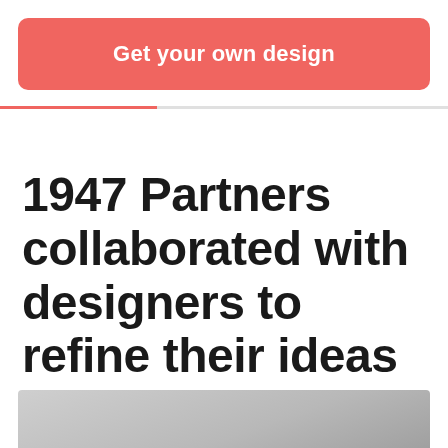Get your own design
1947 Partners collaborated with designers to refine their ideas
[Figure (photo): Gray placeholder image at the bottom of the page]